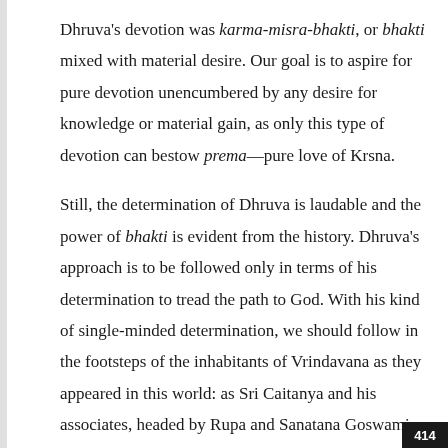Dhruva's devotion was karma-misra-bhakti, or bhakti mixed with material desire. Our goal is to aspire for pure devotion unencumbered by any desire for knowledge or material gain, as only this type of devotion can bestow prema—pure love of Krsna.
Still, the determination of Dhruva is laudable and the power of bhakti is evident from the history. Dhruva's approach is to be followed only in terms of his determination to tread the path to God. With his kind of single-minded determination, we should follow in the footsteps of the inhabitants of Vrindavana as they appeared in this world: as Sri Caitanya and his associates, headed by Rupa and Sanatana Goswamis.
414